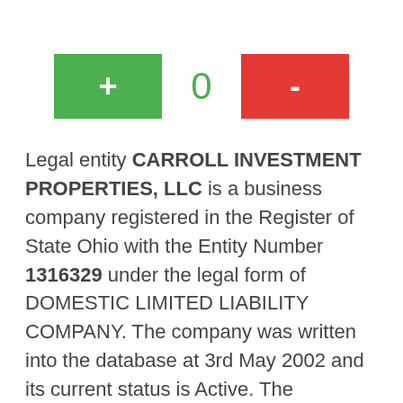[Figure (infographic): Interactive counter UI with a green plus button on the left, a '0' counter in the center in green, and a red minus button on the right]
Legal entity CARROLL INVESTMENT PROPERTIES, LLC is a business company registered in the Register of State Ohio with the Entity Number 1316329 under the legal form of DOMESTIC LIMITED LIABILITY COMPANY. The company was written into the database at 3rd May 2002 and its current status is Active. The registered agent of this company is DAVID A RIGGENBACH with the seat at 6215 COLUMBUS-LANCASTER ROAD ,